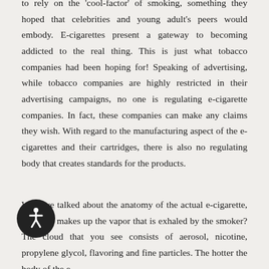to rely on the 'cool-factor' of smoking, something they hoped that celebrities and young adult's peers would embody. E-cigarettes present a gateway to becoming addicted to the real thing. This is just what tobacco companies had been hoping for! Speaking of advertising, while tobacco companies are highly restricted in their advertising campaigns, no one is regulating e-cigarette companies. In fact, these companies can make any claims they wish. With regard to the manufacturing aspect of the e-cigarettes and their cartridges, there is also no regulating body that creates standards for the products.
We have talked about the anatomy of the actual e-cigarette, but what makes up the vapor that is exhaled by the smoker? The cloud that you see consists of aerosol, nicotine, propylene glycol, flavoring and fine particles. The hotter the body of the e-